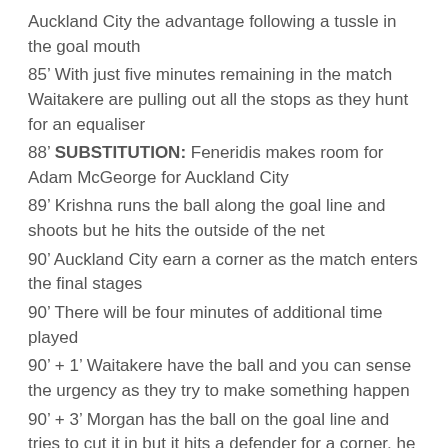Auckland City the advantage following a tussle in the goal mouth
85′ With just five minutes remaining in the match Waitakere are pulling out all the stops as they hunt for an equaliser
88′ SUBSTITUTION: Feneridis makes room for Adam McGeorge for Auckland City
89′ Krishna runs the ball along the goal line and shoots but he hits the outside of the net
90′ Auckland City earn a corner as the match enters the final stages
90′ There will be four minutes of additional time played
90′ + 1′ Waitakere have the ball and you can sense the urgency as they try to make something happen
90′ + 3′ Morgan has the ball on the goal line and tries to cut it in but it hits a defender for a corner, he takes it quick but blasts it chest height for Williams to take an easy capture